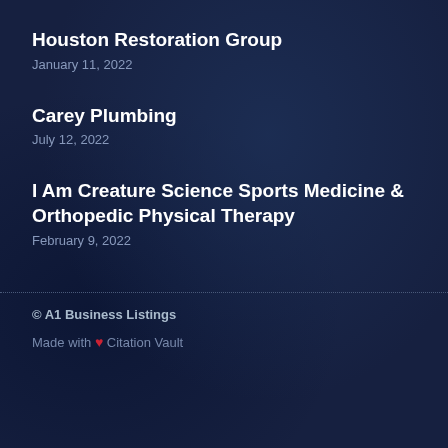Houston Restoration Group
January 11, 2022
Carey Plumbing
July 12, 2022
I Am Creature Science Sports Medicine & Orthopedic Physical Therapy
February 9, 2022
© A1 Business Listings
Made with ❤ Citation Vault